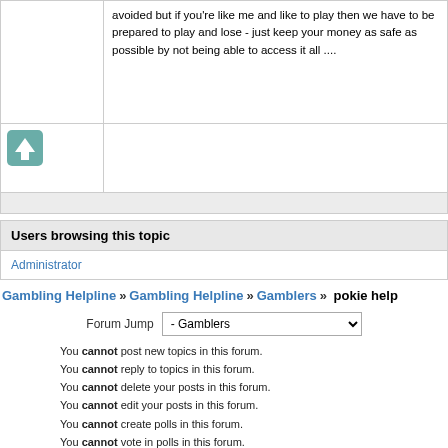avoided but if you're like me and like to play then we have to be prepared to play and lose - just keep your money as safe as possible by not being able to access it all ....
[Figure (illustration): Up arrow button icon (teal/green rounded square with white upward arrow)]
Users browsing this topic
Administrator
Gambling Helpline » Gambling Helpline » Gamblers » pokie help
Forum Jump  - Gamblers
You cannot post new topics in this forum. You cannot reply to topics in this forum. You cannot delete your posts in this forum. You cannot edit your posts in this forum. You cannot create polls in this forum. You cannot vote in polls in this forum.
Powered by YAF 1.9.6 RC1 | YAF © 2003-2022, Yet Another Forum.NET  This page was generated in 0.072 seconds.